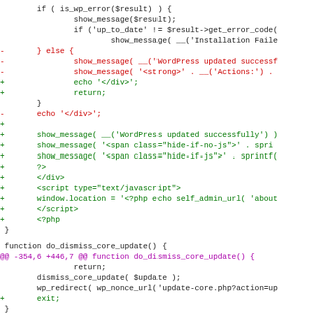Code diff showing PHP file changes including do_dismiss_core_update function